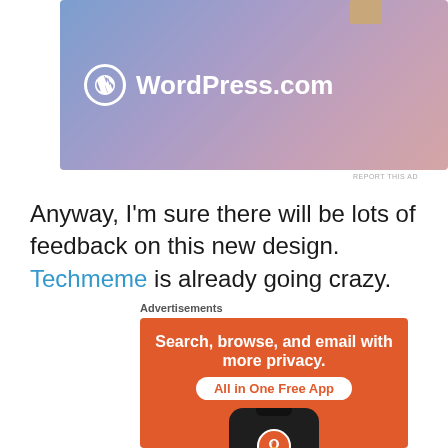[Figure (screenshot): WordPress.com advertisement banner with gradient purple-pink background and WordPress logo with domain name]
REPORT THIS AD
Anyway, I'm sure there will be lots of feedback on this new design. Techmeme is already going crazy.
Advertisements
[Figure (screenshot): DuckDuckGo advertisement showing 'Search, browse, and email with more privacy. All in One Free App' with phone showing DuckDuckGo app on orange background]